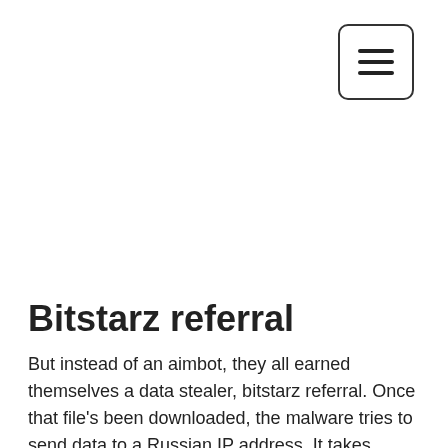[Figure (other): Hamburger menu button icon — three horizontal lines inside a rounded rectangle border]
Bitstarz referral
But instead of an aimbot, they all earned themselves a data stealer, bitstarz referral. Once that file's been downloaded, the malware tries to send data to a Russian IP address. It takes particular interest in Bitcoin wallets, your Steam sessions, and browsing